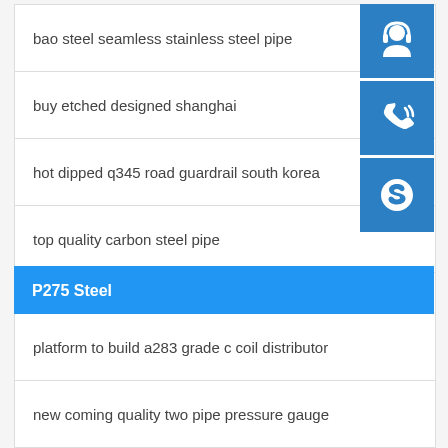bao steel seamless stainless steel pipe
buy etched designed shanghai
hot dipped q345 road guardrail south korea
top quality carbon steel pipe
2016 useful hot rolled steel coil sheet plate
hot rolled q235b a36 ss400 s235j2
P275 Steel
platform to build a283 grade c coil distributor
new coming quality two pipe pressure gauge